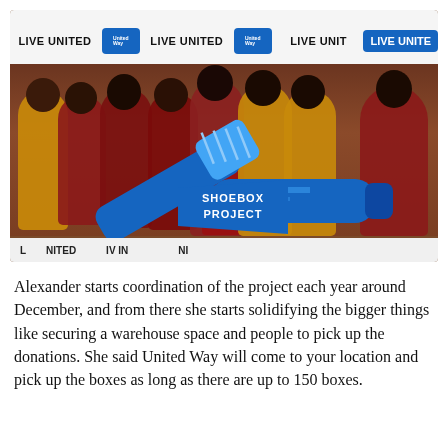[Figure (photo): Group photo of approximately 11 people standing in front of a 'LIVE UNITED' / United Way branded step-and-repeat banner. Several people are wearing red or gold/yellow shirts. Some people are holding large prop cutouts of a toothbrush, toothpaste tube, and a sign reading 'SHOEBOX PROJECT'.]
Alexander starts coordination of the project each year around December, and from there she starts solidifying the bigger things like securing a warehouse space and people to pick up the donations. She said United Way will come to your location and pick up the boxes as long as there are up to 150 boxes.